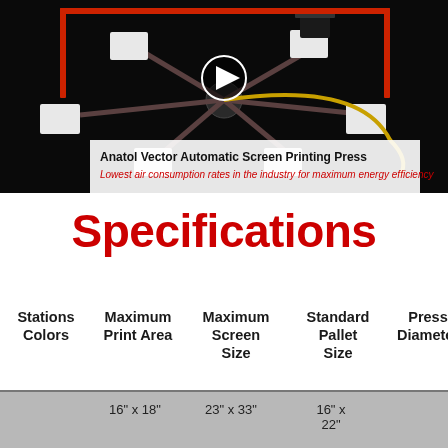[Figure (screenshot): Video thumbnail showing Anatol Vector Automatic Screen Printing Press with multiple print stations, dark background. Overlay text reads 'Anatol Vector Automatic Screen Printing Press' and subtitle 'Lowest air consumption rates in the industry for maximum energy efficiency'. A play button triangle is visible at top center.]
Specifications
| Stations Colors | Maximum Print Area | Maximum Screen Size | Standard Pallet Size | Press Diameter |
| --- | --- | --- | --- | --- |
|  | 16" x 18" | 23" x 33" | 16" x 22" |  |